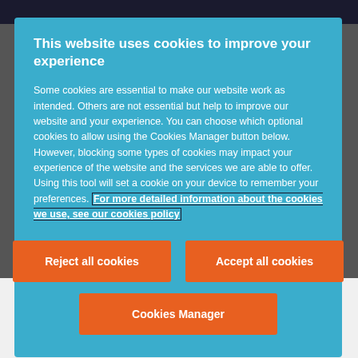This website uses cookies to improve your experience
Some cookies are essential to make our website work as intended. Others are not essential but help to improve our website and your experience. You can choose which optional cookies to allow using the Cookies Manager button below. However, blocking some types of cookies may impact your experience of the website and the services we are able to offer. Using this tool will set a cookie on your device to remember your preferences. For more detailed information about the cookies we use, see our cookies policy
access or use of medical records.
You can find the Dutch version of the fining decision here.